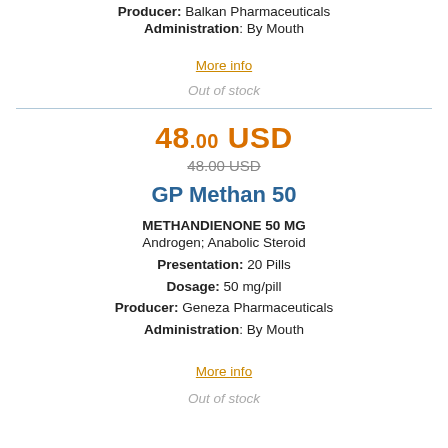Producer: Balkan Pharmaceuticals
Administration: By Mouth
More info
Out of stock
48.00 USD
48.00 USD (strikethrough)
GP Methan 50
METHANDIENONE 50 MG
Androgen; Anabolic Steroid
Presentation: 20 Pills
Dosage: 50 mg/pill
Producer: Geneza Pharmaceuticals
Administration: By Mouth
More info
Out of stock